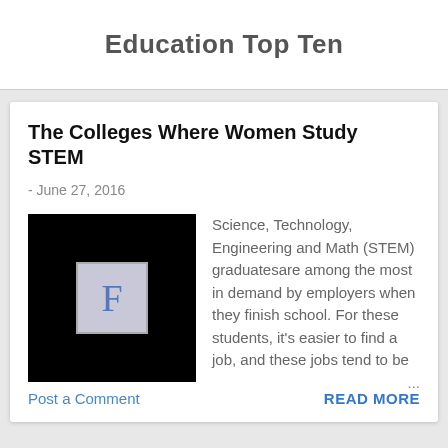Education Top Ten
The Colleges Where Women Study STEM
- June 27, 2016
[Figure (logo): Black square thumbnail with a light blue letter F in a grey bordered box in the center]
Science, Technology, Engineering and Math (STEM) graduatesare among the most in demand by employers when they finish school. For these students, it's easier to find a job, and these jobs tend to be …
Post a Comment
READ MORE